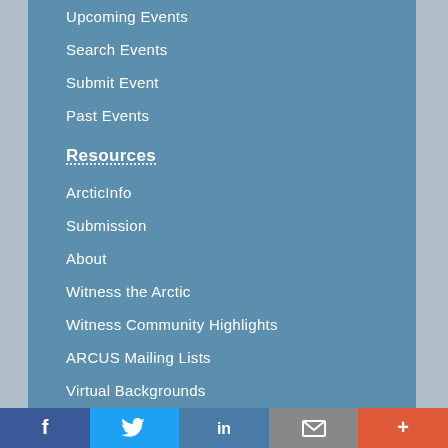Upcoming Events
Search Events
Submit Event
Past Events
Resources
ArcticInfo
Submission
About
Witness the Arctic
Witness Community Highlights
ARCUS Mailing Lists
Virtual Backgrounds
Directory of Arctic Researchers
Publications Directory
News Archive
Conducting Research with
[Figure (infographic): Social media sharing bar with Facebook, Twitter, LinkedIn, email, and more buttons]